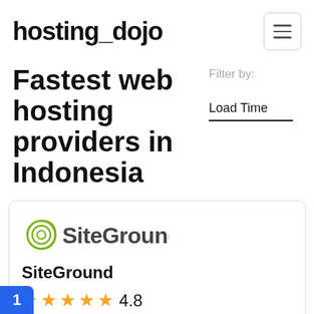hosting_dojo
Fastest web hosting providers in Indonesia
Filter by:
Load Time
[Figure (logo): SiteGround logo with green swirl icon and stylized text]
SiteGround
4.8